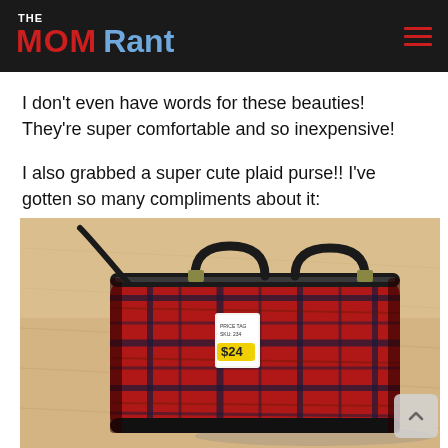THE MOM Rant
I don't even have words for these beauties! They're super comfortable and so inexpensive!
I also grabbed a super cute plaid purse!! I've gotten so many compliments about it:
[Figure (photo): A red plaid purse with black handles and a price tag showing $24, photographed on a wooden floor.]